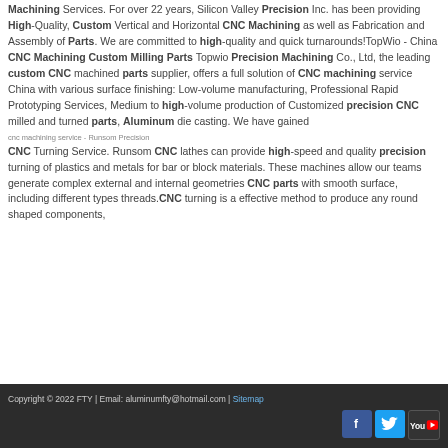Machining Services. For over 22 years, Silicon Valley Precision Inc. has been providing High-Quality, Custom Vertical and Horizontal CNC Machining as well as Fabrication and Assembly of Parts. We are committed to high-quality and quick turnarounds!TopWio - China CNC Machining Custom Milling Parts Topwio Precision Machining Co., Ltd, the leading custom CNC machined parts supplier, offers a full solution of CNC machining service China with various surface finishing: Low-volume manufacturing, Professional Rapid Prototyping Services, Medium to high-volume production of Customized precision CNC milled and turned parts, Aluminum die casting. We have gained
cnc machining service - Runsom Precision
CNC Turning Service. Runsom CNC lathes can provide high-speed and quality precision turning of plastics and metals for bar or block materials. These machines allow our teams generate complex external and internal geometries CNC parts with smooth surface, including different types threads.CNC turning is a effective method to produce any round shaped components,
Copyright © 2022 FTY | Email: aluminumfty@hotmail.com | Sitemap